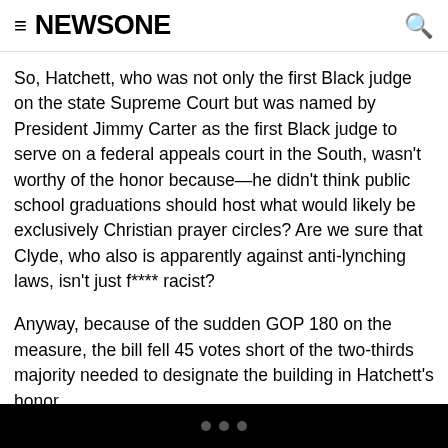≡ NEWSONE 🔍
So, Hatchett, who was not only the first Black judge on the state Supreme Court but was named by President Jimmy Carter as the first Black judge to serve on a federal appeals court in the South, wasn't worthy of the honor because—he didn't think public school graduations should host what would likely be exclusively Christian prayer circles? Are we sure that Clyde, who also is apparently against anti-lynching laws, isn't just f**** racist?
Anyway, because of the sudden GOP 180 on the measure, the bill fell 45 votes short of the two-thirds majority needed to designate the building in Hatchett's honor.
• • •